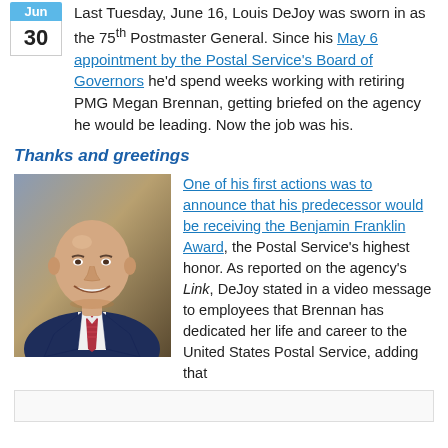Last Tuesday, June 16, Louis DeJoy was sworn in as the 75th Postmaster General. Since his May 6 appointment by the Postal Service's Board of Governors he'd spend weeks working with retiring PMG Megan Brennan, getting briefed on the agency he would be leading. Now the job was his.
Thanks and greetings
[Figure (photo): Portrait photo of Louis DeJoy in a dark suit with red striped tie, smiling, against a brown/gold background]
One of his first actions was to announce that his predecessor would be receiving the Benjamin Franklin Award, the Postal Service's highest honor. As reported on the agency's Link, DeJoy stated in a video message to employees that Brennan has dedicated her life and career to the United States Postal Service, adding that